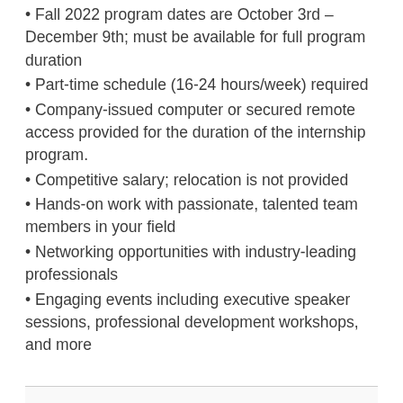Fall 2022 program dates are October 3rd – December 9th; must be available for full program duration
Part-time schedule (16-24 hours/week) required
Company-issued computer or secured remote access provided for the duration of the internship program.
Competitive salary; relocation is not provided
Hands-on work with passionate, talented team members in your field
Networking opportunities with industry-leading professionals
Engaging events including executive speaker sessions, professional development workshops, and more